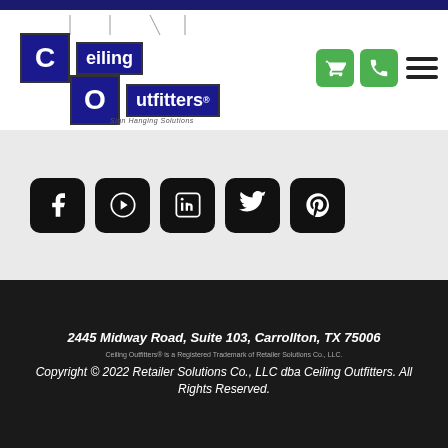[Figure (logo): Ceiling Outfitters logo with hanging sign blocks and tagline 'Sign Hanging Solutions']
[Figure (infographic): Social media icons: Facebook, YouTube, LinkedIn, Twitter, Pinterest]
2445 Midway Road, Suite 103, Carrollton, TX 75006
Ceiling Outfitters® is a Registered Trademark of Retailer Solutions Co., LLC.
Copyright © 2022 Retailer Solutions Co., LLC dba Ceiling Outfitters. All Rights Reserved.